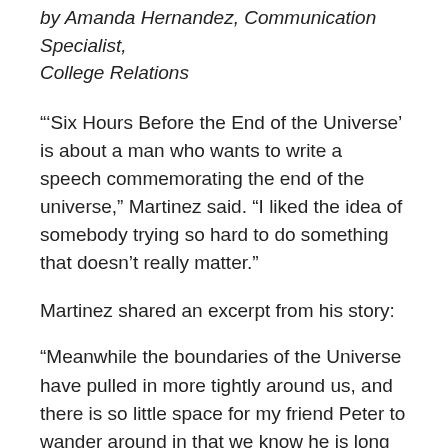by Amanda Hernandez, Communication Specialist, College Relations
“‘Six Hours Before the End of the Universe’ is about a man who wants to write a speech commemorating the end of the universe,” Martinez said. “I liked the idea of somebody trying so hard to do something that doesn’t really matter.”
Martinez shared an excerpt from his story:
“Meanwhile the boundaries of the Universe have pulled in more tightly around us, and there is so little space for my friend Peter to wander around in that we know he is long gone. Without him, there is no one but me left to make sense of the empty burdens of men, those bundles that we strain beneath until, nearly broken, we drop them to the ground and lay them bare and see